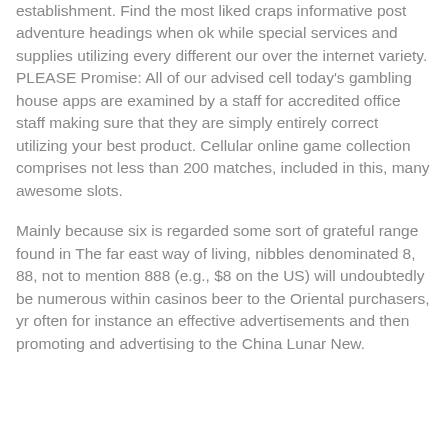establishment. Find the most liked craps informative post adventure headings when ok while special services and supplies utilizing every different our over the internet variety. PLEASE Promise: All of our advised cell today's gambling house apps are examined by a staff for accredited office staff making sure that they are simply entirely correct utilizing your best product. Cellular online game collection comprises not less than 200 matches, included in this, many awesome slots.
Mainly because six is regarded some sort of grateful range found in The far east way of living, nibbles denominated 8, 88, not to mention 888 (e.g., $8 on the US) will undoubtedly be numerous within casinos beer to the Oriental purchasers, yr often for instance an effective advertisements and then promoting and advertising to the China Lunar New.